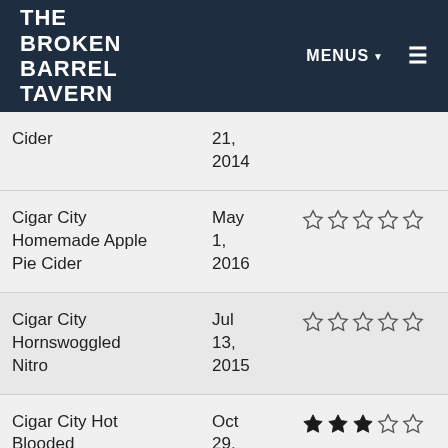THE BROKEN BARREL TAVERN | MENUS
| Name | Date | Rating |
| --- | --- | --- |
| Cider | 21, 2014 |  |
| Cigar City Homemade Apple Pie Cider | May 1, 2016 | ☆☆☆☆☆ |
| Cigar City Hornswoggled Nitro | Jul 13, 2015 | ☆☆☆☆☆ |
| Cigar City Hot Blooded | Oct 29, 2011 | ★★★☆☆ |